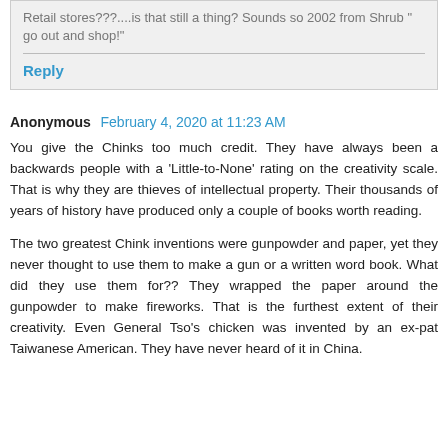Retail stores???....is that still a thing? Sounds so 2002 from Shrub " go out and shop!"
Reply
Anonymous  February 4, 2020 at 11:23 AM
You give the Chinks too much credit. They have always been a backwards people with a 'Little-to-None' rating on the creativity scale. That is why they are thieves of intellectual property. Their thousands of years of history have produced only a couple of books worth reading.
The two greatest Chink inventions were gunpowder and paper, yet they never thought to use them to make a gun or a written word book. What did they use them for?? They wrapped the paper around the gunpowder to make fireworks. That is the furthest extent of their creativity. Even General Tso's chicken was invented by an ex-pat Taiwanese American. They have never heard of it in China.